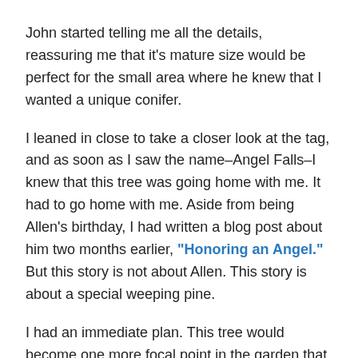John started telling me all the details, reassuring me that it's mature size would be perfect for the small area where he knew that I wanted a unique conifer.
I leaned in close to take a closer look at the tag, and as soon as I saw the name–Angel Falls–I knew that this tree was going home with me. It had to go home with me. Aside from being Allen's birthday, I had written a blog post about him two months earlier, "Honoring an Angel." But this story is not about Allen. This story is about a special weeping pine.
I had an immediate plan. This tree would become one more focal point in the garden that I had designed for Allen. But, again, this story is not about him. This story is about a special weeping pine.